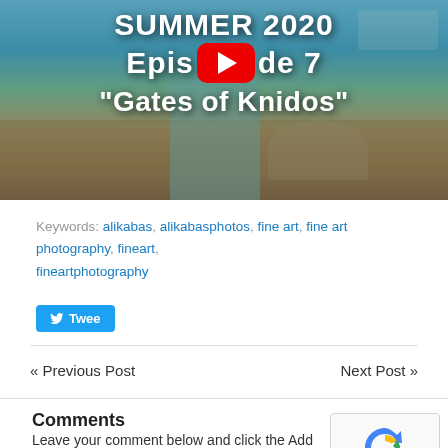[Figure (screenshot): YouTube video thumbnail showing coastal ruins and harbor scene with overlaid white bold text: SUMMER 2020 / Episode 7 / "Gates of Knidos". A red YouTube play button is centered over the image.]
Keywords: alikabas, alikabasphotos, fine art, fine art photography, fineart, fineartphotography
[Figure (other): Twitter Tweet button (blue rounded rectangle with bird icon and text 'Tweet')]
« Previous Post
Next Post »
Comments
Leave your comment below and click the Add Comment button